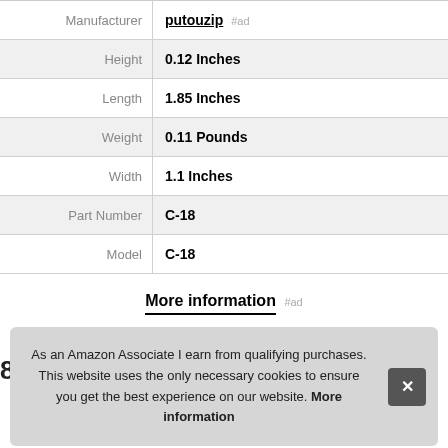| Attribute | Value |
| --- | --- |
| Manufacturer | putouzip #ad |
| Height | 0.12 Inches |
| Length | 1.85 Inches |
| Weight | 0.11 Pounds |
| Width | 1.1 Inches |
| Part Number | C-18 |
| Model | C-18 |
More information #ad
As an Amazon Associate I earn from qualifying purchases. This website uses the only necessary cookies to ensure you get the best experience on our website. More information